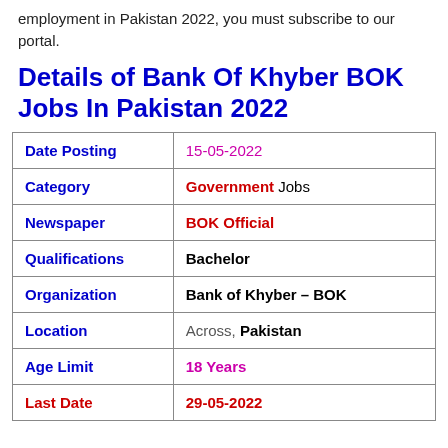employment in Pakistan 2022, you must subscribe to our portal.
Details of Bank Of Khyber BOK Jobs In Pakistan 2022
| Field | Value |
| --- | --- |
| Date Posting | 15-05-2022 |
| Category | Government Jobs |
| Newspaper | BOK Official |
| Qualifications | Bachelor |
| Organization | Bank of Khyber – BOK |
| Location | Across, Pakistan |
| Age Limit | 18 Years |
| Last Date | 29-05-2022 |